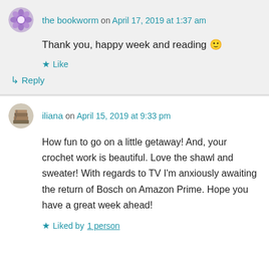the bookworm on April 17, 2019 at 1:37 am
Thank you, happy week and reading 🙂
★ Like
↳ Reply
iliana on April 15, 2019 at 9:33 pm
How fun to go on a little getaway! And, your crochet work is beautiful. Love the shawl and sweater! With regards to TV I'm anxiously awaiting the return of Bosch on Amazon Prime. Hope you have a great week ahead!
★ Liked by 1 person